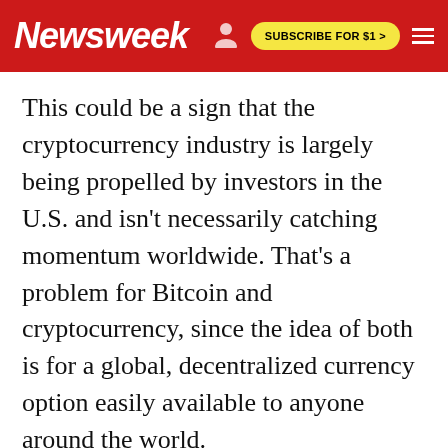Newsweek | SUBSCRIBE FOR $1 >
This could be a sign that the cryptocurrency industry is largely being propelled by investors in the U.S. and isn't necessarily catching momentum worldwide. That's a problem for Bitcoin and cryptocurrency, since the idea of both is for a global, decentralized currency option easily available to anyone around the world.
Ultimately, cryptocurrencies like Bitcoin still have a long way to go to prove their worth compared to fiat currencies for many people